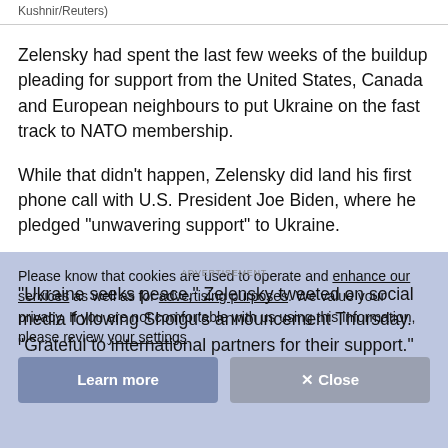Kushnir/Reuters)
Zelensky had spent the last few weeks of the buildup pleading for support from the United States, Canada and European neighbours to put Ukraine on the fast track to NATO membership.
While that didn't happen, Zelensky did land his first phone call with U.S. President Joe Biden, where he pledged "unwavering support" to Ukraine.
Please know that cookies are used to operate and enhance our services as well as for advertising purposes. We value your privacy. If you are not comfortable with us using this information, please review your settings before continuing your use of the site.
"Ukraine seeks peace," Zelensky tweeted on social media following Shoigu's announcement Thursday. "Grateful to international partners for their support."